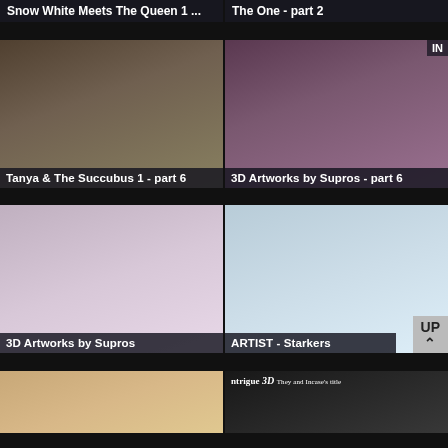Snow White Meets The Queen 1 ...
The One - part 2
[Figure (illustration): 3D rendered scene of a blonde female character against stone wall]
[Figure (illustration): 3D rendered group of women in bikinis]
Tanya & The Succubus 1 - part 6
3D Artworks by Supros - part 6
[Figure (illustration): 3D rendered female figure close-up]
[Figure (illustration): 3D rendered female figure labeled Rowena]
3D Artworks by Supros
ARTIST - Starkers
[Figure (illustration): 3D comic artwork bottom left panel]
[Figure (illustration): Intrigue 3D bottom right panel]